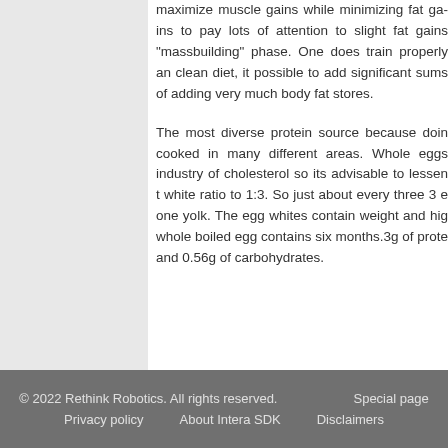maximize muscle gains while minimizing fat ga... to pay lots of attention to slight fat gains... "massbuilding" phase. One does train properly a... clean diet, it possible to add significant sums of... adding very much body fat stores.
The most diverse protein source because doi... cooked in many different areas. Whole eggs... industry of cholesterol so its advisable to lessen t... white ratio to 1:3. So just about every three 3 e... one yolk. The egg whites contain weight and hig... whole boiled egg contains six months.3g of prote... and 0.56g of carbohydrates.
© 2022 Rethink Robotics. All rights reserved.   Special page   Privacy policy   About Intera SDK   Disclaimers